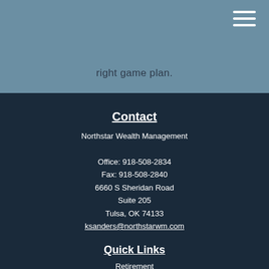right game plan.
Contact
Northstar Wealth Management
Office: 918-508-2834
Fax: 918-508-2840
6660 S Sheridan Road
Suite 205
Tulsa, OK 74133
ksanders@northstarwm.com
Quick Links
Retirement
Investment
Estate